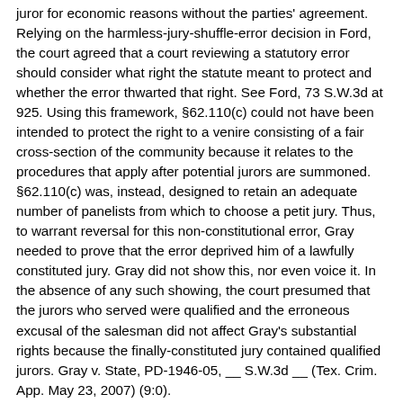juror for economic reasons without the parties' agreement. Relying on the harmless-jury-shuffle-error decision in Ford, the court agreed that a court reviewing a statutory error should consider what right the statute meant to protect and whether the error thwarted that right. See Ford, 73 S.W.3d at 925. Using this framework, §62.110(c) could not have been intended to protect the right to a venire consisting of a fair cross-section of the community because it relates to the procedures that apply after potential jurors are summoned. §62.110(c) was, instead, designed to retain an adequate number of panelists from which to choose a petit jury. Thus, to warrant reversal for this non-constitutional error, Gray needed to prove that the error deprived him of a lawfully constituted jury. Gray did not show this, nor even voice it. In the absence of any such showing, the court presumed that the jurors who served were qualified and the erroneous excusal of the salesman did not affect Gray's substantial rights because the finally-constituted jury contained qualified jurors. Gray v. State, PD-1946-05, __ S.W.3d __ (Tex. Crim. App. May 23, 2007) (9:0).